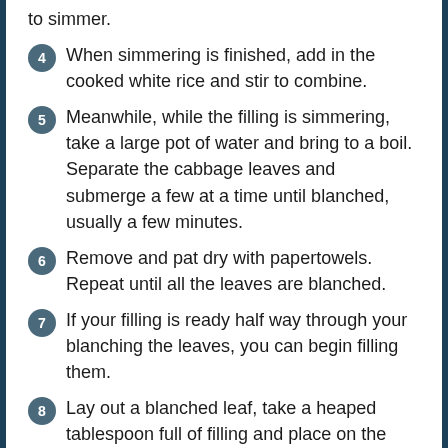to simmer.
4 When simmering is finished, add in the cooked white rice and stir to combine.
5 Meanwhile, while the filling is simmering, take a large pot of water and bring to a boil. Separate the cabbage leaves and submerge a few at a time until blanched, usually a few minutes.
6 Remove and pat dry with papertowels. Repeat until all the leaves are blanched.
7 If your filling is ready half way through your blanching the leaves, you can begin filling them.
8 Lay out a blanched leaf, take a heaped tablespoon full of filling and place on the leaf, centred and near the base. Fold the